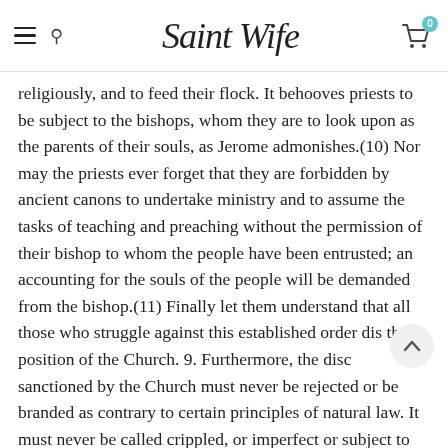Saint Wife — navigation header with hamburger menu, search, logo, and cart (0 items)
religiously, and to feed their flock. It behooves priests to be subject to the bishops, whom they are to look upon as the parents of their souls, as Jerome admonishes.(10) Nor may the priests ever forget that they are forbidden by ancient canons to undertake ministry and to assume the tasks of teaching and preaching without the permission of their bishop to whom the people have been entrusted; an accounting for the souls of the people will be demanded from the bishop.(11) Finally let them understand that all those who struggle against this established order dis... the position of the Church. 9. Furthermore, the disci... sanctioned by the Church must never be rejected or be branded as contrary to certain principles of natural law. It must never be called crippled, or imperfect or subject to civil authority. In this discipline the administration of ...